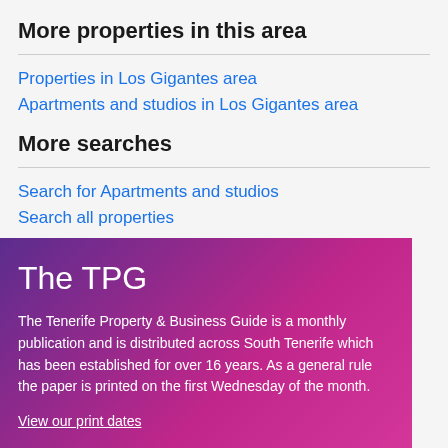More properties in this area
Properties in Los Gigantes area
Apartments and studios in Los Gigantes area
More searches
Search for Apartments and studios
Search all properties
The TPG
The Tenerife Property & Business Guide is a monthly publication and is distributed across South Tenerife which has been established for over 16 years. As a general rule the paper is printed on the first Wednesday of the month.
View our print dates